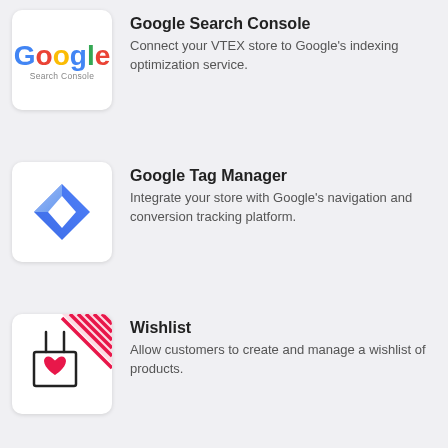[Figure (logo): Google Search Console logo with colored Google text and 'Search Console' subtitle]
Google Search Console
Connect your VTEX store to Google's indexing optimization service.
[Figure (logo): Google Tag Manager blue diamond logo]
Google Tag Manager
Integrate your store with Google's navigation and conversion tracking platform.
[Figure (logo): Wishlist logo with a box/cart and heart icon, plus red striped corner element]
Wishlist
Allow customers to create and manage a wishlist of products.
[Figure (logo): Hotjar logo with hotjar text in bold black and orange flame]
Hotjar
With one click, start monitoring your customers'